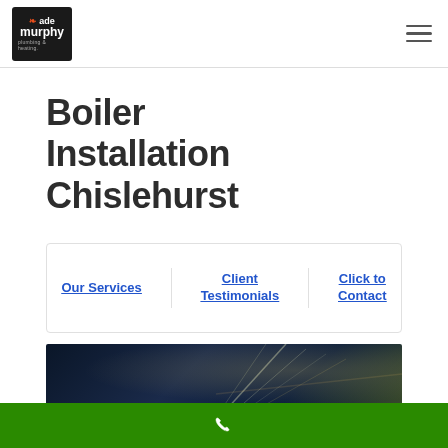[Figure (logo): Ade Murphy Plumbing & Heating logo — dark background with leaf icon in orange, text in white]
Boiler Installation Chislehurst
Our Services
Client Testimonials
Click to Contact
[Figure (photo): Dark photo showing pipes or boiler installation with light streaks, taken at night or in low light]
[Figure (other): Green footer bar with white phone icon]